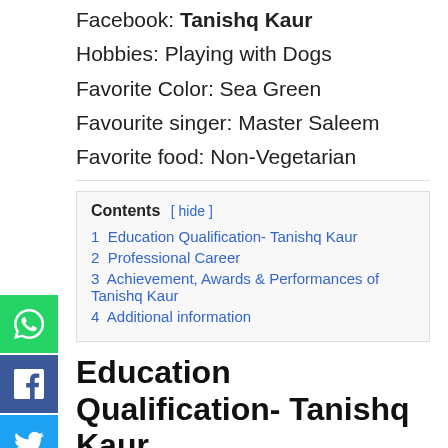Facebook: Tanishq Kaur
Hobbies: Playing with Dogs
Favorite Color: Sea Green
Favourite singer: Master Saleem
Favorite food: Non-Vegetarian
[Figure (infographic): Social media share icons: WhatsApp (green), Facebook (blue), Twitter (light blue), Google+ (red), Pinterest (dark red), LinkedIn (blue)]
Contents
1  Education Qualification- Tanishq Kaur
2  Professional Career
3  Achievement, Awards & Performances of Tanishq Kaur
4  Additional information
Education Qualification- Tanishq Kaur
Qualification: Graduation
School – Guru Nanak Publi Senior Secondry